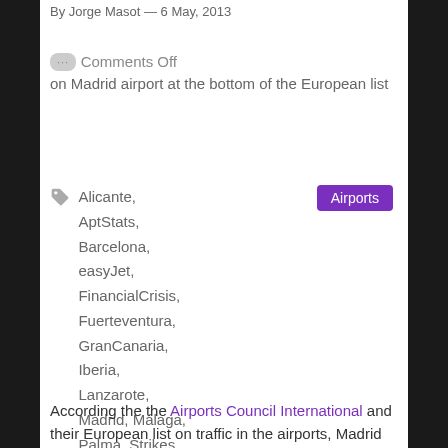By Jorge Masot — 6 May, 2013
Comments Off on Madrid airport at the bottom of the European list
Alicante, AptStats, Barcelona, easyJet, FinancialCrisis, Fuerteventura, GranCanaria, Iberia, Lanzarote, Madrid, Málaga, Palma, Strikes, Tenerife
Airports
According the the Airports Council International and their European list on traffic in the airports, Madrid